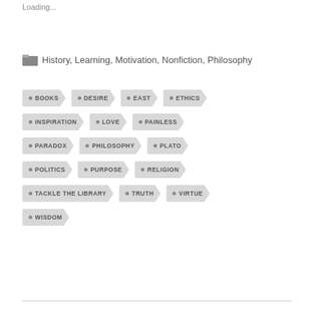Loading...
History, Learning, Motivation, Nonfiction, Philosophy
BOOKS
DESIRE
EAST
ETHICS
INSPIRATION
LOVE
PAINLESS
PARADOX
PHILOSOPHY
PLATO
POLITICS
PURPOSE
RELIGION
TACKLE THE LIBRARY
TRUTH
VIRTUE
WISDOM